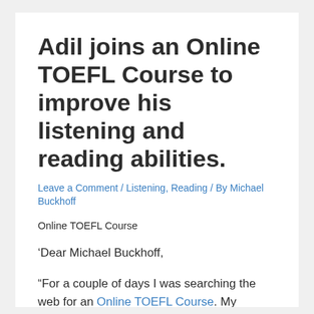Adil joins an Online TOEFL Course to improve his listening and reading abilities.
Leave a Comment / Listening, Reading / By Michael Buckhoff
Online TOEFL Course
‘Dear Michael Buckhoff,
“For a couple of days I was searching the web for an Online TOEFL Course. My current TOEFL score is 70 points because I have done some samples that are similar to the one on the TOEFL,” wrote Adil of India. “I would like to get 90 -95 points that is my goal. I have 2-3 hours every day to study, I mean to spend that time on your course and additional time to